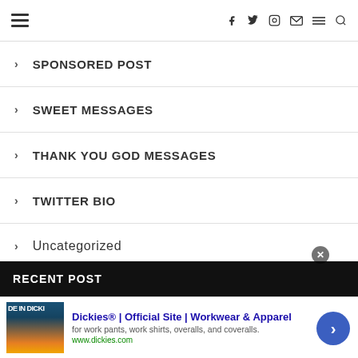Navigation header with hamburger menu and social icons: f (Facebook), twitter, Instagram, mail, menu, search
SPONSORED POST
SWEET MESSAGES
THANK YOU GOD MESSAGES
TWITTER BIO
Uncategorized
WHATSAPP STATUS
RECENT POST
[Figure (screenshot): Advertisement banner for Dickies® Official Site - Workwear & Apparel. Shows Dickies product image on left, ad text on right: 'Dickies® | Official Site | Workwear & Apparel', 'for work pants, work shirts, overalls, and coveralls.', 'www.dickies.com'. Has a close (x) button and a blue arrow navigation button.]